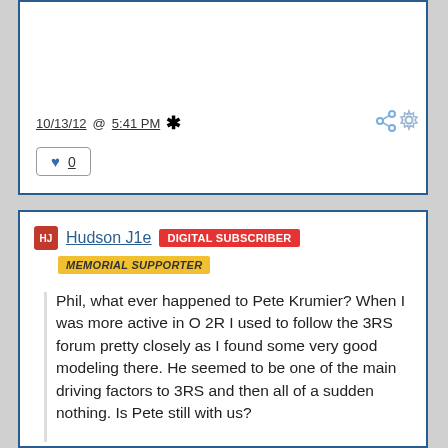10/13/12 @ 5:41 PM *
0
HJ Hudson J1e DIGITAL SUBSCRIBER MEMORIAL SUPPORTER
Phil, what ever happened to Pete Krumier? When I was more active in O 2R I used to follow the 3RS forum pretty closely as I found some very good modeling there. He seemed to be one of the main driving factors to 3RS and then all of a sudden nothing. Is Pete still with us?